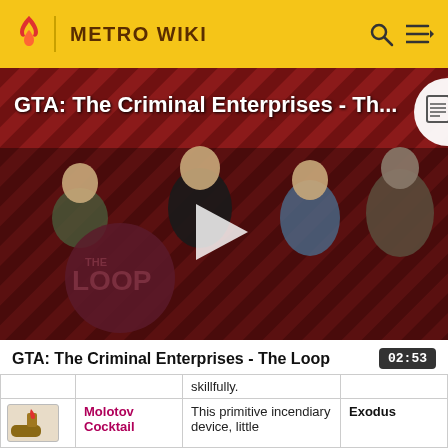METRO WIKI
[Figure (screenshot): GTA: The Criminal Enterprises - The Loop video thumbnail showing game characters on a red diagonal striped background with 'THE LOOP' text and a play button overlay]
GTA: The Criminal Enterprises - The Loop
02:53
|  | Item | Description | Location |
| --- | --- | --- | --- |
|  |  | skillfully. |  |
| [Molotov Cocktail image] | Molotov Cocktail | This primitive incendiary device, little | Exodus |